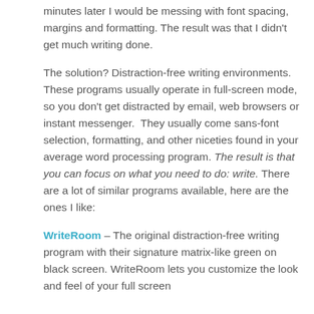minutes later I would be messing with font spacing, margins and formatting. The result was that I didn't get much writing done.
The solution? Distraction-free writing environments.  These programs usually operate in full-screen mode, so you don't get distracted by email, web browsers or instant messenger.  They usually come sans-font selection, formatting, and other niceties found in your average word processing program. The result is that you can focus on what you need to do: write. There are a lot of similar programs available, here are the ones I like:
WriteRoom – The original distraction-free writing program with their signature matrix-like green on black screen. WriteRoom lets you customize the look and feel of your full screen